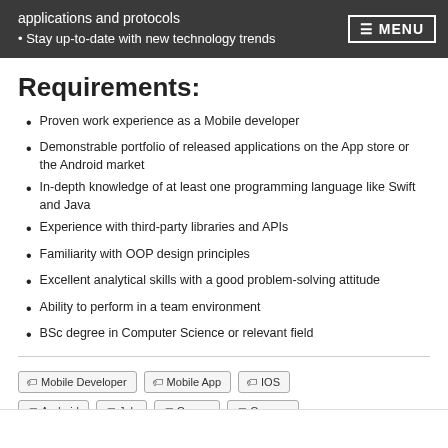applications and protocols  ☰ MENU
• Stay up-to-date with new technology trends
Requirements:
Proven work experience as a Mobile developer
Demonstrable portfolio of released applications on the App store or the Android market
In-depth knowledge of at least one programming language like Swift and Java
Experience with third-party libraries and APIs
Familiarity with OOP design principles
Excellent analytical skills with a good problem-solving attitude
Ability to perform in a team environment
BSc degree in Computer Science or relevant field
Mobile Developer  Mobile App  IOS  Android  Job  Career  Careers